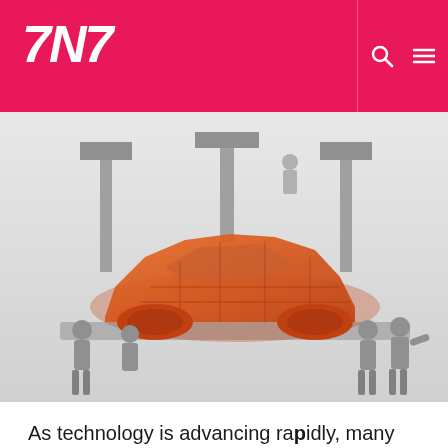TNT
[Figure (illustration): 3D printed orange sports car model on a platform surrounded by grey human figurines, with robotic arms above, representing 3D printing in the automobile industry]
As technology is advancing rapidly, many industries are taking advantage by incorporating these technologies for their benefit. One such technological wonder is 3D printing. This printing technique has revolutionized the industries in many ways. The automobile industry has particularly taken advantage of this technology. While you can